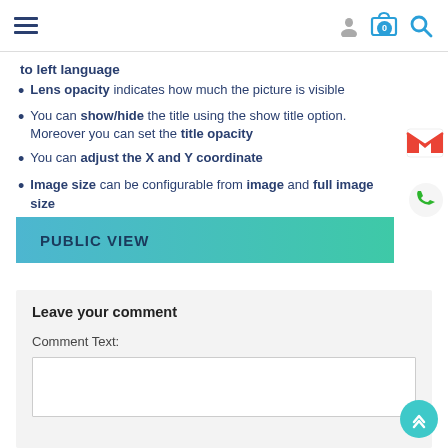Navigation bar with hamburger menu, user icon, cart (0), and search icon
to left language
Lens opacity indicates how much the picture is visible
You can show/hide the title using the show title option. Moreover you can set the title opacity
You can adjust the X and Y coordinate
Image size can be configurable from image and full image size
PUBLIC VIEW
Leave your comment
Comment Text: